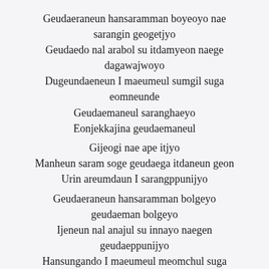Geudaeraneun hansaramman boyeoyo nae sarangin geogetjyo
Geudaedo nal arabol su itdamyeon naege dagawajwoyo
Dugeundaeneun I maeumeul sumgil suga eomneunde
Geudaemaneul saranghaeyo
Eonjekkajina geudaemaneul
Gijeogi nae ape itjyo
Manheun saram soge geudaega itdaneun geon
Urin areumdaun I sarangppunijyo
Geudaeraneun hansaramman bolgeyo geudaeman bolgeyo
Ijeneun nal anajul su innayo naegen geudaeppunijyo
Hansungando I maeumeul meomchul suga